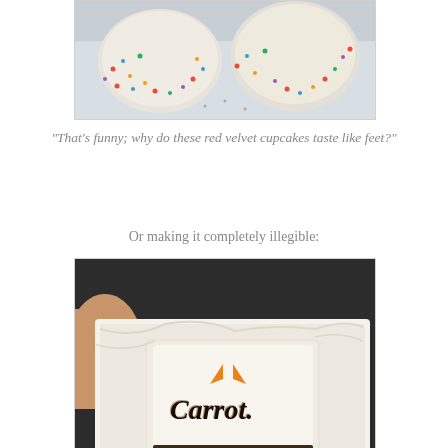[Figure (photo): Top portion of a photo showing cupcakes with white frosting and colorful sprinkles on a tray, partially cropped at the top of the page]
"That's funny; why do these red velvet cupcakes taste like feet?"
Or making it completely illegible:
[Figure (photo): A cake in a white cardboard box with cursive writing that reads 'Carrot' (but appears illegible/messy) with orange decoration on white frosting, held by a hand on the left side]